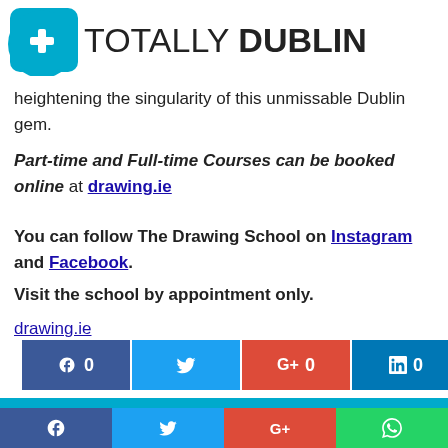TOTALLY DUBLIN
heightening the singularity of this unmissable Dublin gem.
Part-time and Full-time Courses can be booked online at drawing.ie
You can follow The Drawing School on Instagram and Facebook.
Visit the school by appointment only.
drawing.ie
[Figure (infographic): Social share buttons: Facebook (0), Twitter, Google+ (0), LinkedIn (0)]
[Figure (infographic): Newsletter subscription bar with NEWSLETTER heading and bottom social icons: Facebook, Twitter, Google+, WhatsApp]